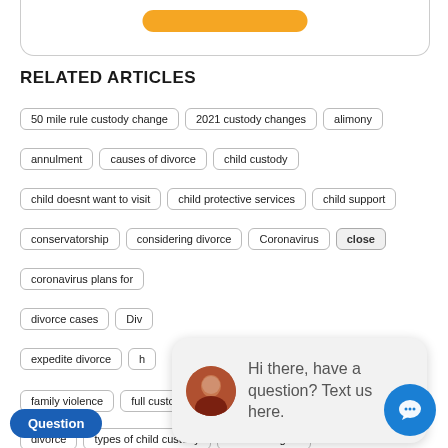[Figure (screenshot): Top portion of a rounded bordered box with an orange button, partially visible at top of page]
RELATED ARTICLES
50 mile rule custody change
2021 custody changes
alimony
annulment
causes of divorce
child custody
child doesnt want to visit
child protective services
child support
conservatorship
considering divorce
Coronavirus
close
coronavirus plans for
divorce cases
Div
expedite divorce
family violence
full custody
protective order
schools re
divorce
types of child custody
visitation rights
Hi there, have a question? Text us here.
Question